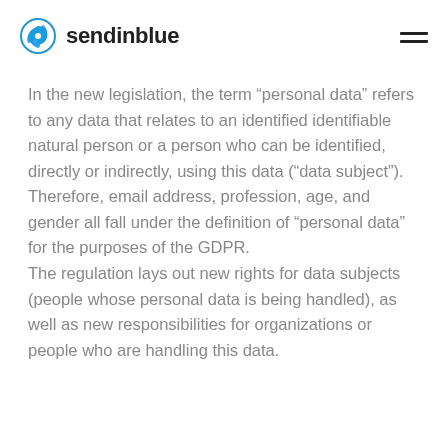sendinblue
In the new legislation, the term “personal data” refers to any data that relates to an identified identifiable natural person or a person who can be identified, directly or indirectly, using this data (“data subject”). Therefore, email address, profession, age, and gender all fall under the definition of “personal data” for the purposes of the GDPR. The regulation lays out new rights for data subjects (people whose personal data is being handled), as well as new responsibilities for organizations or people who are handling this data.